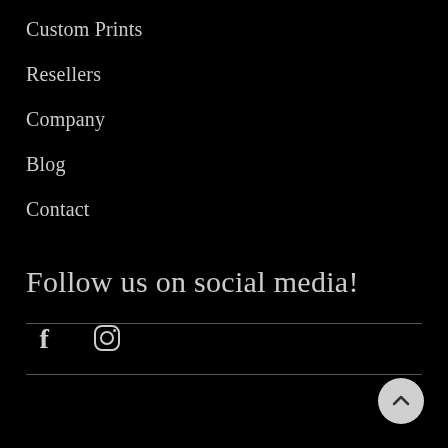Custom Prints
Resellers
Company
Blog
Contact
Follow us on social media!
[Figure (illustration): Facebook and Instagram social media icons in white on black background]
[Figure (illustration): Scroll-to-top button, circular light grey with upward chevron arrow]